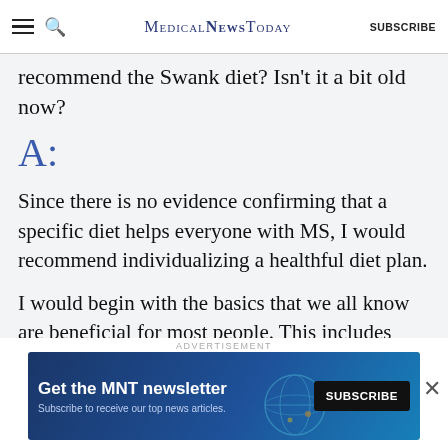MedicalNewsToday SUBSCRIBE
recommend the Swank diet? Isn't it a bit old now?
A:
Since there is no evidence confirming that a specific diet helps everyone with MS, I would recommend individualizing a healthful diet plan.
I would begin with the basics that we all know are beneficial for most people. This includes consuming a variety of nutrient-dense foods,
[Figure (other): MNT newsletter subscription advertisement banner]
ADVERTISEMENT